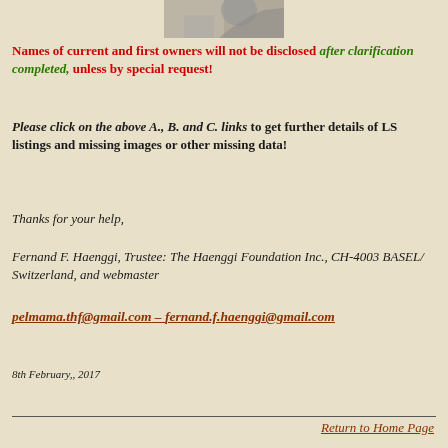[Figure (photo): Partial black and white photograph visible at top center of page]
Names of current and first owners will not be disclosed after clarification completed, unless by special request!
Please click on the above A., B. and C. links to get further details of LS listings and missing images or other missing data!
Thanks for your help,
Fernand F. Haenggi, Trustee: The Haenggi Foundation Inc., CH-4003 BASEL/ Switzerland, and webmaster
pelmama.thf@gmail.com – fernand.f.haenggi@gmail.com
8th February,, 2017
Return to Home Page